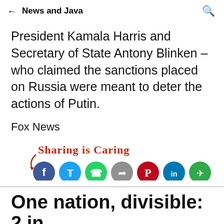← News and Java
President Kamala Harris and Secretary of State Antony Blinken – who claimed the sanctions placed on Russia were meant to deter the actions of Putin.
Fox News
[Figure (infographic): Sharing is Caring text in red cursive with social media icons: Facebook, Twitter, WhatsApp, Share, Pinterest, LinkedIn, and another icon]
One nation, divisible: 2 in